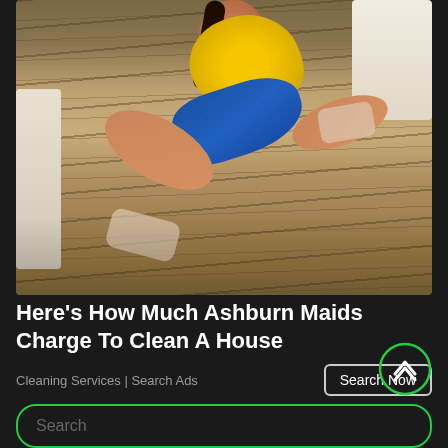[Figure (photo): A woman in a yellow shirt and blue apron cleaning a hardwood floor on hands and knees, using white cloths to scrub the floor. Background shows furniture.]
Here's How Much Ashburn Maids Charge To Clean A House
Cleaning Services | Search Ads
Search Now
Search